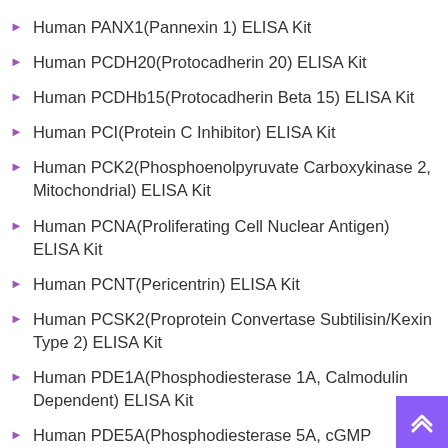Human PANX1(Pannexin 1) ELISA Kit
Human PCDH20(Protocadherin 20) ELISA Kit
Human PCDHb15(Protocadherin Beta 15) ELISA Kit
Human PCI(Protein C Inhibitor) ELISA Kit
Human PCK2(Phosphoenolpyruvate Carboxykinase 2, Mitochondrial) ELISA Kit
Human PCNA(Proliferating Cell Nuclear Antigen) ELISA Kit
Human PCNT(Pericentrin) ELISA Kit
Human PCSK2(Proprotein Convertase Subtilisin/Kexin Type 2) ELISA Kit
Human PDE1A(Phosphodiesterase 1A, Calmodulin Dependent) ELISA Kit
Human PDE5A(Phosphodiesterase 5A, cGMP Specific)